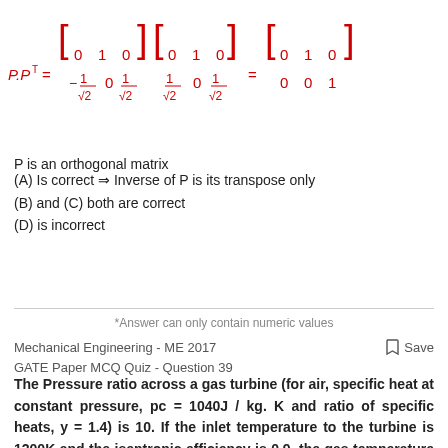P is an orthogonal matrix
(A) Is correct ⇒ Inverse of P is its transpose only
(B) and (C) both are correct
(D) is incorrect
*Answer can only contain numeric values
Mechanical Engineering - ME 2017
GATE Paper MCQ Quiz - Question 39
The Pressure ratio across a gas turbine (for air, specific heat at constant pressure, pc = 1040J / kg. K and ratio of specific heats, y = 1.4) is 10. If the inlet temperature to the turbine is 1200K and the isentropic efficiency is 0.9, the gas temperature at turbine exit is ______ K.